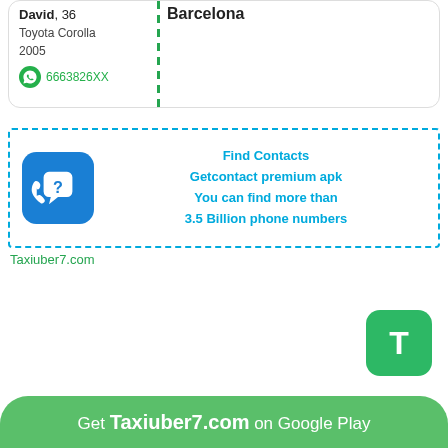Barcelona
David, 36
Toyota Corolla
2005
6663826XX
[Figure (infographic): Find Contacts ad box with phone/question icon. Text: Find Contacts, Getcontact premium apk, You can find more than 3.5 Billion phone numbers]
Taxiuber7.com
[Figure (logo): Green rounded square button with white letter T]
Get Taxiuber7.com on Google Play